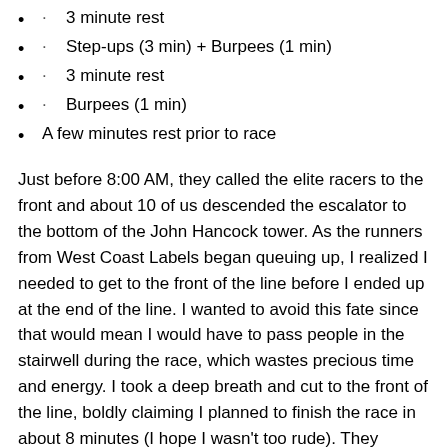· 3 minute rest
· Step-ups (3 min) + Burpees (1 min)
· 3 minute rest
· Burpees (1 min)
A few minutes rest prior to race
Just before 8:00 AM, they called the elite racers to the front and about 10 of us descended the escalator to the bottom of the John Hancock tower. As the runners from West Coast Labels began queuing up, I realized I needed to get to the front of the line before I ended up at the end of the line. I wanted to avoid this fate since that would mean I would have to pass people in the stairwell during the race, which wastes precious time and energy. I took a deep breath and cut to the front of the line, boldly claiming I planned to finish the race in about 8 minutes (I hope I wasn't too rude). They looked a little bit surprised, but graciously let me go first. Moments afterward, the race started and I found myself in the first stairwell. It happened so quickly, I had no time to be nervous.
The stairway itself was optimal. The landings were uniformly